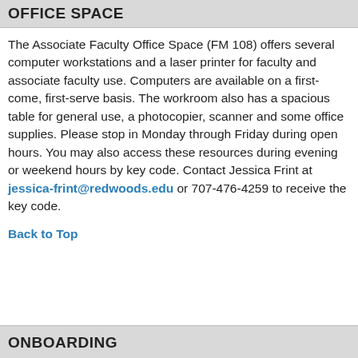OFFICE SPACE
The Associate Faculty Office Space (FM 108) offers several computer workstations and a laser printer for faculty and associate faculty use. Computers are available on a first-come, first-serve basis. The workroom also has a spacious table for general use, a photocopier, scanner and some office supplies. Please stop in Monday through Friday during open hours. You may also access these resources during evening or weekend hours by key code. Contact Jessica Frint at jessica-frint@redwoods.edu or 707-476-4259 to receive the key code.
Back to Top
ONBOARDING